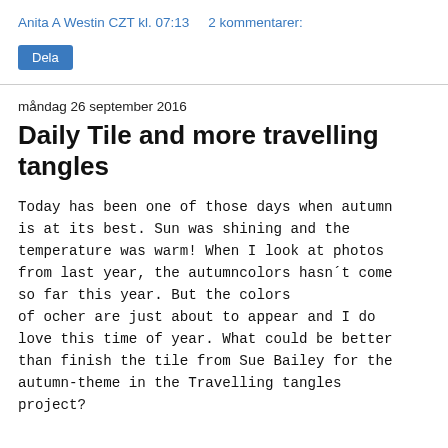Anita A Westin CZT kl. 07:13     2 kommentarer:
Dela
måndag 26 september 2016
Daily Tile and more travelling tangles
Today has been one of those days when autumn is at its best. Sun was shining and the temperature was warm! When I look at photos from last year, the autumncolors hasn´t come so far this year. But the colors of ocher are just about to appear and I do love this time of year. What could be better than finish the tile from Sue Bailey for the autumn-theme in the Travelling tangles project?